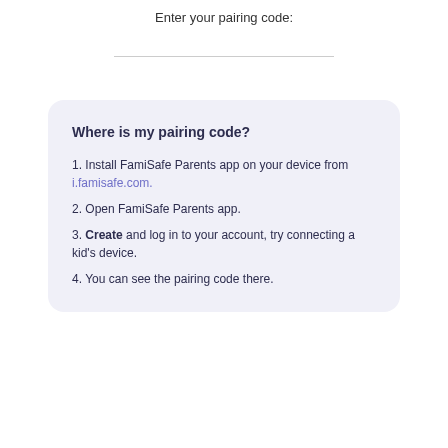Enter your pairing code:
1. Install FamiSafe Parents app on your device from i.famisafe.com.
2. Open FamiSafe Parents app.
3. Create and log in to your account, try connecting a kid's device.
4. You can see the pairing code there.